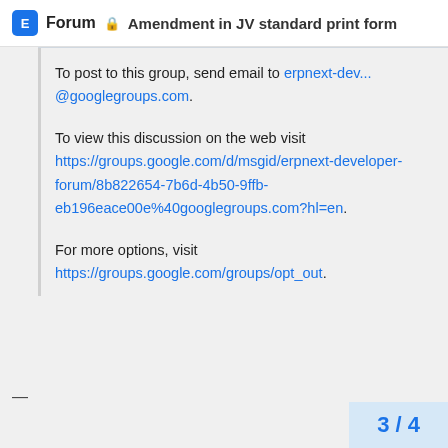Forum 🔒 Amendment in JV standard print form
To post to this group, send email to erpnext-dev...@googlegroups.com.
To view this discussion on the web visit https://groups.google.com/d/msgid/erpnext-developer-forum/8b822654-7b6d-4b50-9ffb-eb196eace00e%40googlegroups.com?hl=en.
For more options, visit https://groups.google.com/groups/opt_out.
— 3 / 4